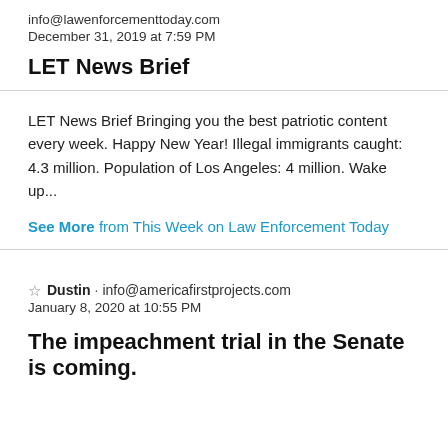info@lawenforcementtoday.com
December 31, 2019 at 7:59 PM
LET News Brief
LET News Brief Bringing you the best patriotic content every week. Happy New Year! Illegal immigrants caught: 4.3 million. Population of Los Angeles: 4 million. Wake up...
See More from This Week on Law Enforcement Today
☆ Dustin · info@americafirstprojects.com
January 8, 2020 at 10:55 PM
The impeachment trial in the Senate is coming.